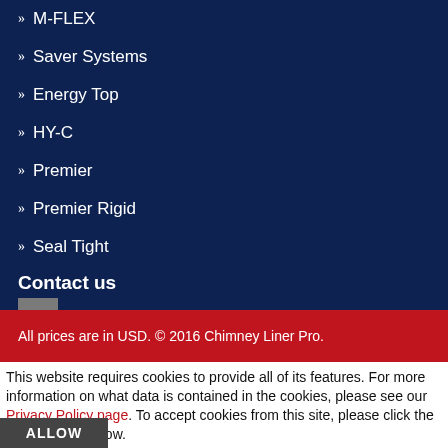M-FLEX
Saver Systems
Energy Top
HY-C
Premier
Premier Rigid
Seal Tight
Contact us
Email : service@chimneylinerpro.com
Phone : 1-800-785-9124
All prices are in USD. © 2016 Chimney Liner Pro.
This website requires cookies to provide all of its features. For more information on what data is contained in the cookies, please see our Privacy Policy page. To accept cookies from this site, please click the Allow button below.